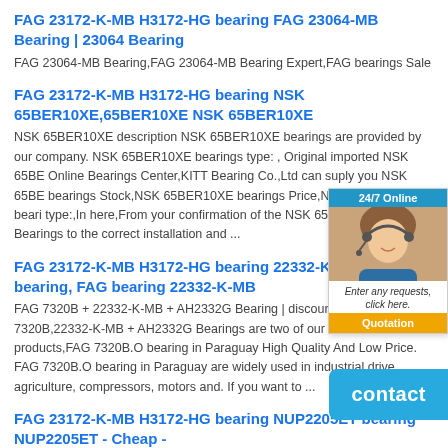FAG 23172-K-MB H3172-HG bearing FAG 23064-MB Bearing | 23064 Bearing
FAG 23064-MB Bearing,FAG 23064-MB Bearing Expert,FAG bearings Sale
FAG 23172-K-MB H3172-HG bearing NSK 65BER10XE,65BER10XE NSK 65BER10XE
NSK 65BER10XE description NSK 65BER10XE bearings are provided by our company. NSK 65BER10XE bearings type: , Original imported NSK 65BER10XE Online Bearings Center,KITT Bearing Co.,Ltd can suply you NSK 65BER10XE bearings Stock,NSK 65BER10XE bearings Price,NSK 65BER10XE bearings type:,In here,From your confirmation of the NSK 65BER10XE Bearings to the correct installation and ...
[Figure (photo): 24/7 Online chat widget with customer service representative photo and Quotation button]
FAG 23172-K-MB H3172-HG bearing 22332-K-MB AH2332G bearing, FAG bearing 22332-K-MB
FAG 7320B + 22332-K-MB + AH2332G Bearing | discount&Damasc. FAG 7320B,22332-K-MB + AH2332G Bearings are two of our main products,FAG 7320B.O bearing in Paraguay High Quality And Low Price. FAG 7320B.O bearing in Paraguay are widely used in industrial drive, agriculture, compressors, motors and. If you want to ...
FAG 23172-K-MB H3172-HG bearing NUP2205ET bearing NUP2205ET - Cheap -
This NUP2205ET bearing is a single row cylindrical roller bearing. It has 1
[Figure (other): Blue contact button overlay in bottom right corner]